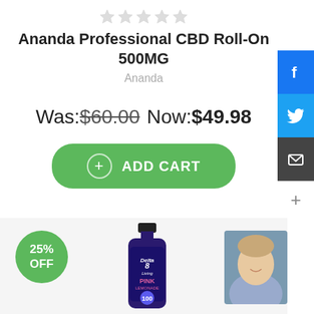[Figure (other): Star rating row (empty/grey stars)]
Ananda Professional CBD Roll-On 500MG
Ananda
Was: $60.00 Now: $49.98
+ ADD CART
[Figure (other): 25% OFF badge, Delta 8 Living Pink Lemonade 100 bottle product image, and a man's headshot photo in bottom section]